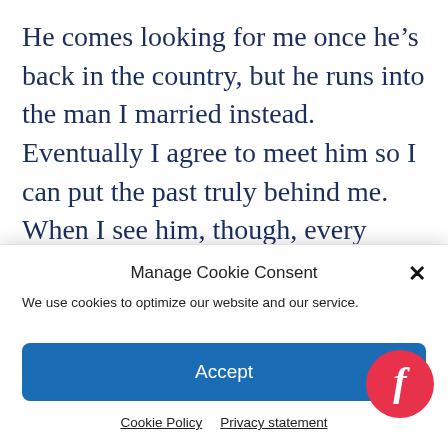He comes looking for me once he’s back in the country, but he runs into the man I married instead. Eventually I agree to meet him so I can put the past truly behind me. When I see him, though, every feeling I held inside comes rushing back.
My husband and I vowed to raise this baby
Manage Cookie Consent
We use cookies to optimize our website and our service.
Accept
Cookie Policy   Privacy statement